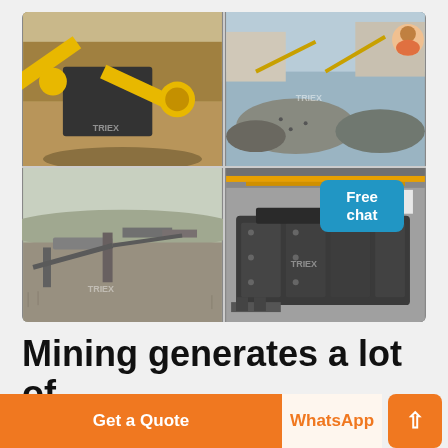[Figure (photo): 2x2 grid of mining/crushing plant photos with TRIEX watermarks. Top-left: yellow conveyor/crusher machinery in dusty quarry. Top-right: aggregate stockpile with processing equipment and buildings. Bottom-left: wide open-air stone crushing facility. Bottom-right: large industrial impact crusher machine indoors.]
Mining generates a lot of wastes for the environment For
Free chat
Get a Quote
WhatsApp